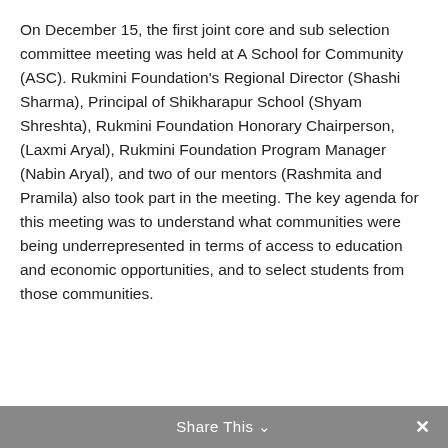On December 15, the first joint core and sub selection committee meeting was held at A School for Community (ASC). Rukmini Foundation's Regional Director (Shashi Sharma), Principal of Shikharapur School (Shyam Shreshta), Rukmini Foundation Honorary Chairperson, (Laxmi Aryal), Rukmini Foundation Program Manager (Nabin Aryal), and two of our mentors (Rashmita and Pramila) also took part in the meeting. The key agenda for this meeting was to understand what communities were being underrepresented in terms of access to education and economic opportunities, and to select students from those communities.
Share This ∨  ✕